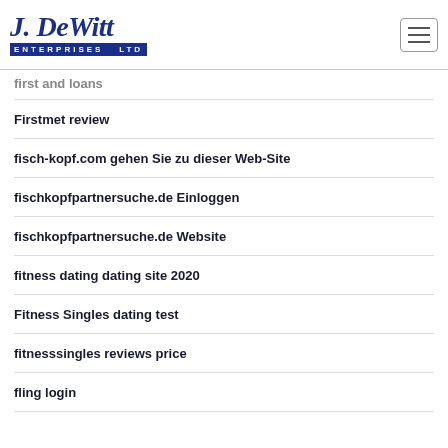[Figure (logo): J. DeWitt Enterprises Ltd logo in dark blue script with blue banner]
first and loans
Firstmet review
fisch-kopf.com gehen Sie zu dieser Web-Site
fischkopfpartnersuche.de Einloggen
fischkopfpartnersuche.de Website
fitness dating dating site 2020
Fitness Singles dating test
fitnesssingles reviews price
fling login